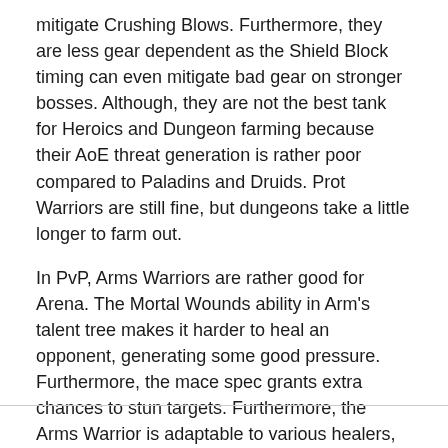mitigate Crushing Blows. Furthermore, they are less gear dependent as the Shield Block timing can even mitigate bad gear on stronger bosses. Although, they are not the best tank for Heroics and Dungeon farming because their AoE threat generation is rather poor compared to Paladins and Druids. Prot Warriors are still fine, but dungeons take a little longer to farm out.
In PvP, Arms Warriors are rather good for Arena. The Mortal Wounds ability in Arm's talent tree makes it harder to heal an opponent, generating some good pressure. Furthermore, the mace spec grants extra chances to stun targets. Furthermore, the Arms Warrior is adaptable to various healers, like Holy Paladin, Resto Druid and Disc Priest.